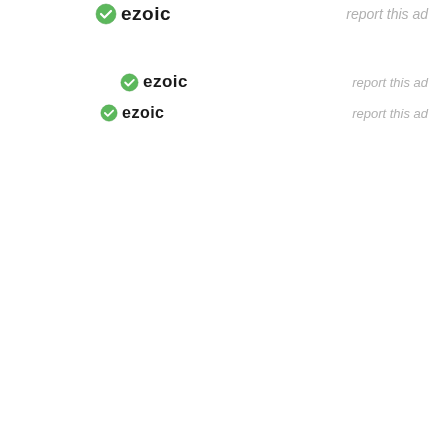[Figure (logo): Ezoic logo with green checkmark icon and bold text 'ezoic', with 'report this ad' link to the right — row 1]
[Figure (logo): Ezoic logo with green checkmark icon and bold text 'ezoic', with 'report this ad' link to the right — row 2]
[Figure (logo): Ezoic logo with green checkmark icon and bold text 'ezoic', with 'report this ad' link to the right — row 3]